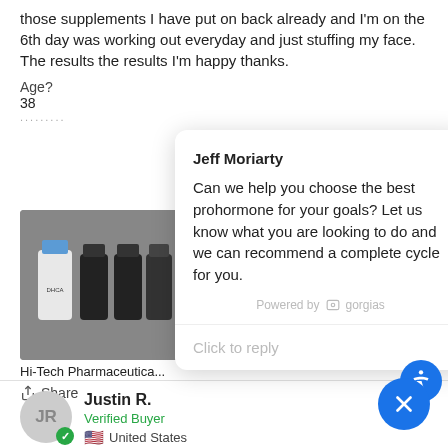those supplements I have put on back already and I'm on the 6th day was working out everyday and just stuffing my face. The results the results I'm happy thanks.
Age?
38
[Figure (photo): Photo of Hi-Tech Pharmaceuticals supplement bottles laid on a gray fabric surface]
Hi-Tech Pharmaceutica...
Share
Jeff Moriarty
Can we help you choose the best prohormone for your goals? Let us know what you are looking to do and we can recommend a complete cycle for you.
Powered by gorgias
Click to reply
Justin R.
Verified Buyer
United States